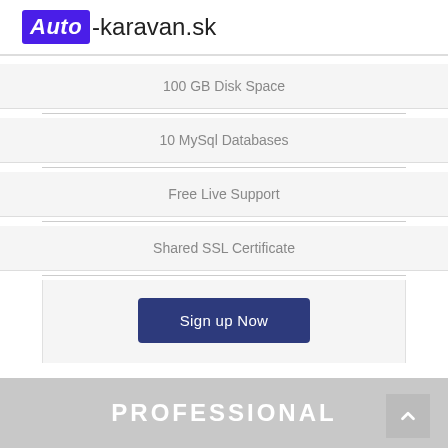[Figure (logo): Auto-karavan.sk logo with purple background on 'Auto' text and plain text '-karavan.sk']
100 GB Disk Space
10 MySql Databases
Free Live Support
Shared SSL Certificate
Sign up Now
PROFESSIONAL